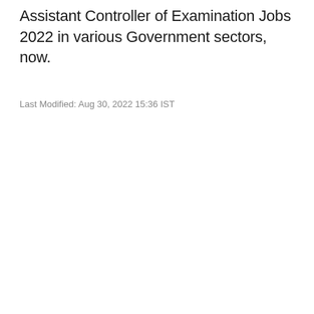Assistant Controller of Examination Jobs 2022 in various Government sectors, now.
Last Modified: Aug 30, 2022 15:36 IST